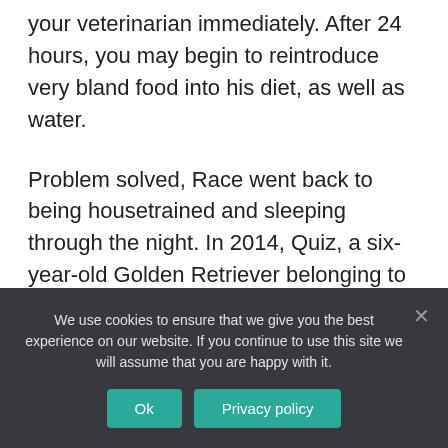your veterinarian immediately. After 24 hours, you may begin to reintroduce very bland food into his diet, as well as water.
Problem solved, Race went back to being housetrained and sleeping through the night. In 2014, Quiz, a six-year-old Golden Retriever belonging to Clyde Surles of Nashotah, Wisconsin, was treated for hookworms. At about the same time, she had intermittent diarrhea and began vomiting bile on an empty stomach.
We use cookies to ensure that we give you the best experience on our website. If you continue to use this site we will assume that you are happy with it.